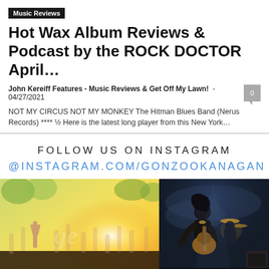Music Reviews
Hot Wax Album Reviews & Podcast by the ROCK DOCTOR April…
John Kereiff Features - Music Reviews & Get Off My Lawn!  -  04/27/2021
NOT MY CIRCUS NOT MY MONKEY The Hitman Blues Band (Nerus Records) **** ½ Here is the latest long player from this New York…
FOLLOW US ON INSTAGRAM
@INSTAGRAM.COM/GONZOOKANAGAN
[Figure (photo): Concert crowd photo with hands raised, golden sunlight, Gonzo Events watermark overlay]
[Figure (photo): Rock guitarist performing on stage with dramatic smoke lighting and drums visible in background]